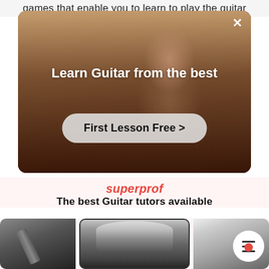games that enable you to learn to play the guitar
[Figure (screenshot): Advertisement banner for Superprof guitar lessons showing a person playing guitar with text 'Learn Guitar from the best' and a 'First Lesson Free >' button]
superprof
The best Guitar tutors available
[Figure (photo): Three photos of guitar tutors: left shows a person with a guitar neck, center shows a person sitting playing guitar in a studio setting (black and white), right shows a close-up of a person with a menu button overlay]